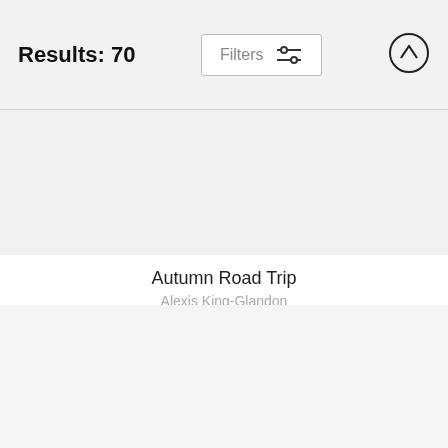Results: 70
[Figure (screenshot): Filters button with slider icon]
[Figure (screenshot): Up arrow circle button]
Autumn Road Trip
Alexis King-Glandon
$45
Tampa Bay Seascape
Alexis King-Glandon
$43
Galaxy Butterfly